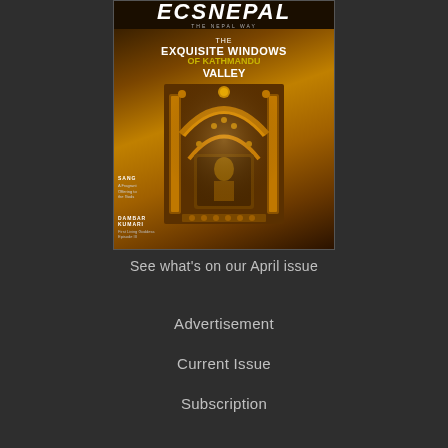[Figure (photo): Cover of ECS Nepal magazine (The Nepal Way) featuring 'The Exquisite Windows of Kathmandu Valley' as the headline. The cover shows a golden ornate traditional Nepalese temple window/torana with intricate woodcarving, against a dark background. There are sidebar text mentions of 'SANG' and 'DAMBAR KUMARI'.]
See what's on our April issue
Advertisement
Current Issue
Subscription